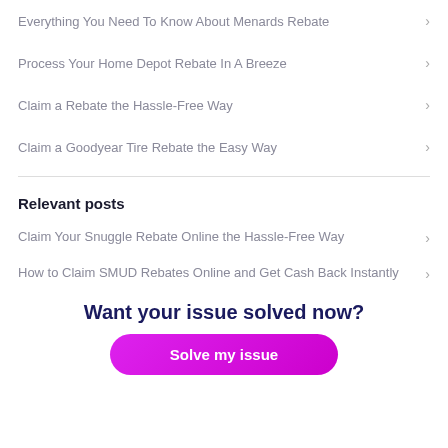Everything You Need To Know About Menards Rebate
Process Your Home Depot Rebate In A Breeze
Claim a Rebate the Hassle-Free Way
Claim a Goodyear Tire Rebate the Easy Way
Relevant posts
Claim Your Snuggle Rebate Online the Hassle-Free Way
How to Claim SMUD Rebates Online and Get Cash Back Instantly
Want your issue solved now?
Solve my issue